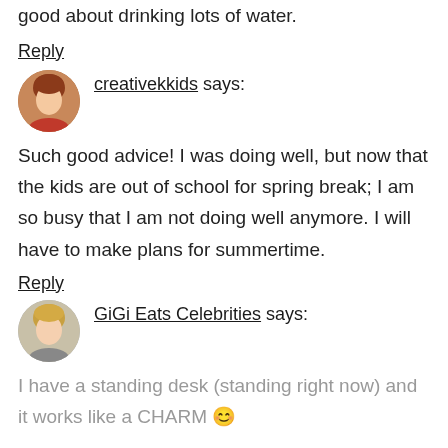good about drinking lots of water.
Reply
creativekkids says:
Such good advice! I was doing well, but now that the kids are out of school for spring break; I am so busy that I am not doing well anymore. I will have to make plans for summertime.
Reply
GiGi Eats Celebrities says:
I have a standing desk (standing right now) and it works like a CHARM 😊